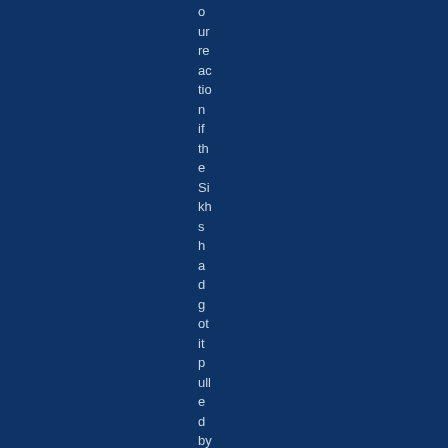our reaction if the Sikhs had got it pulled by "negotiating"